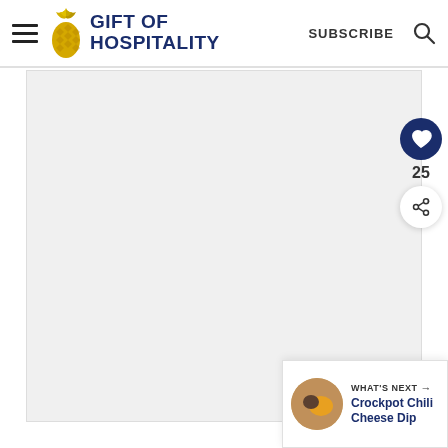Gift of Hospitality — SUBSCRIBE
[Figure (screenshot): Website screenshot showing Gift of Hospitality blog header with pineapple logo, hamburger menu, SUBSCRIBE text, and search icon. Main content area is a light gray placeholder. Right side has a dark blue heart/like button, count of 25, and a share button. Bottom right shows a 'WHAT'S NEXT' teaser for Crockpot Chili Cheese Dip.]